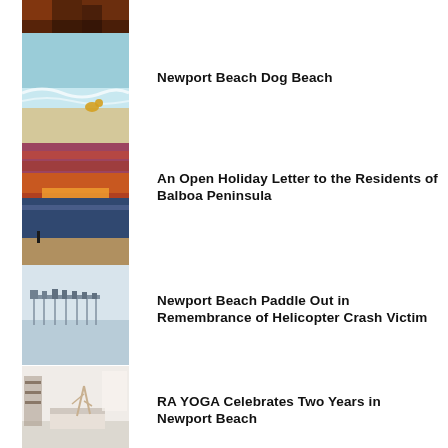[Figure (photo): Partial thumbnail of amber/red cave or canyon]
[Figure (photo): Beach scene with waves and dog in water]
Newport Beach Dog Beach
[Figure (photo): Colorful sunset over beach with person walking]
An Open Holiday Letter to the Residents of Balboa Peninsula
[Figure (photo): Newport pier in misty water]
Newport Beach Paddle Out in Remembrance of Helicopter Crash Victim
[Figure (photo): Yoga studio interior with white decor]
RA YOGA Celebrates Two Years in Newport Beach